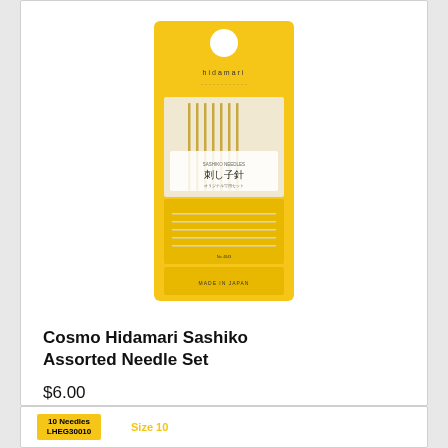[Figure (photo): Yellow packaged Cosmo Hidamari Sashiko Assorted Needle Set product packaging showing needles inside a yellow card with Japanese text and 'MADE IN JAPAN' label]
Cosmo Hidamari Sashiko Assorted Needle Set
$6.00
Add to Cart